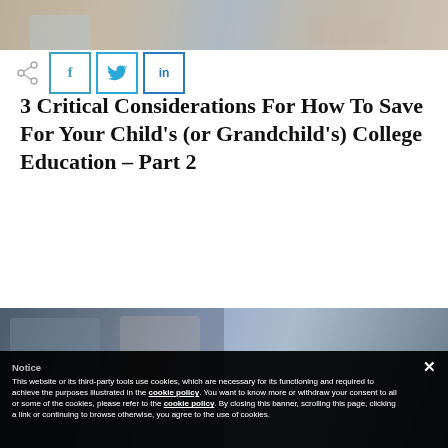[Figure (photo): Top banner photo showing students studying]
[Figure (infographic): Share icon and social media buttons: f (Facebook), Twitter bird, LinkedIn in]
3 Critical Considerations For How To Save For Your Child's (or Grandchild's) College Education – Part 2
[Figure (photo): Photo of students or young people, partially obscured by cookie consent overlay]
Notice

This website or its third-party tools use cookies, which are necessary for its functioning and required to achieve the purposes illustrated in the cookie policy. You want to know more or withdraw your consent to all or some of the cookies, please refer to the cookie policy. By closing this banner, scrolling this page, clicking a link or continuing to browse otherwise, you agree to the use of cookies.